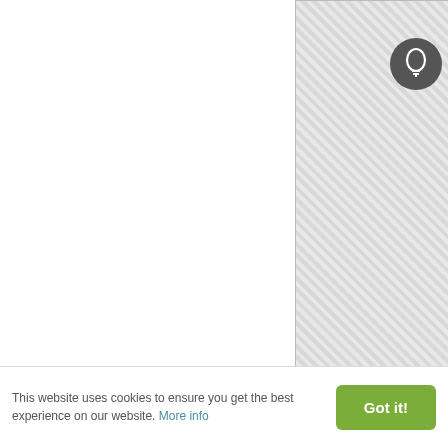[Figure (photo): Cartoon Nose transparent image placeholder with checkerboard pattern, top portion visible]
Cartoon Nose Transparent Image
Format: JPG
Size: 72.7KB
Downloads: 87
[Figure (photo): Second image placeholder with checkerboard pattern, partially visible at bottom]
This website uses cookies to ensure you get the best experience on our website. More info